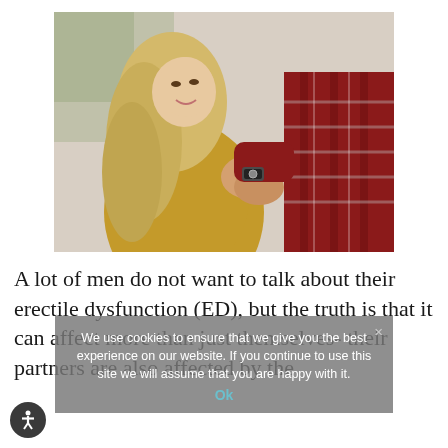[Figure (photo): A couple holding hands outdoors. A woman with long blonde hair wearing a mustard/golden jacket looks up smiling, clasping hands with a man wearing a red plaid flannel shirt and a watch.]
A lot of men do not want to talk about their erectile dysfunction (ED), but the truth is that it can affect more than just themselves- their partners are also affected by the
We use cookies to ensure that we give you the best experience on our website. If you continue to use this site we will assume that you are happy with it.
Ok